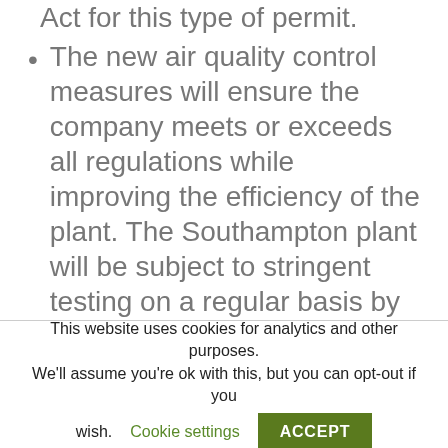Act for this type of permit.
The new air quality control measures will ensure the company meets or exceeds all regulations while improving the efficiency of the plant. The Southampton plant will be subject to stringent testing on a regular basis by a third-party auditor.
Enviva conducted due diligence to confirm that the plant’s sourcing area has commercially available low-value wood that meets its strict sustainability requirements in sufficient
This website uses cookies for analytics and other purposes. We’ll assume you’re ok with this, but you can opt-out if you wish. Cookie settings ACCEPT